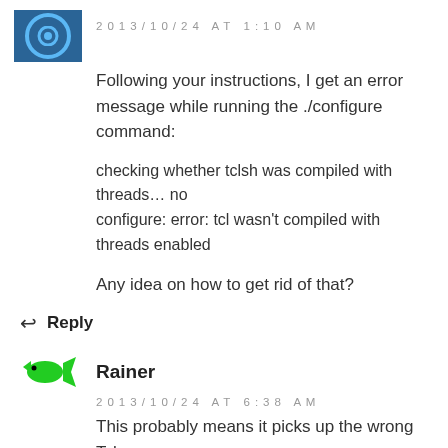2013/10/24 AT 1:10 AM
Following your instructions, I get an error message while running the ./configure command:
checking whether tclsh was compiled with threads... no
configure: error: tcl wasn't compiled with threads enabled
Any idea on how to get rid of that?
Reply
Rainer
2013/10/24 AT 6:38 AM
This probably means it picks up the wrong Tcl